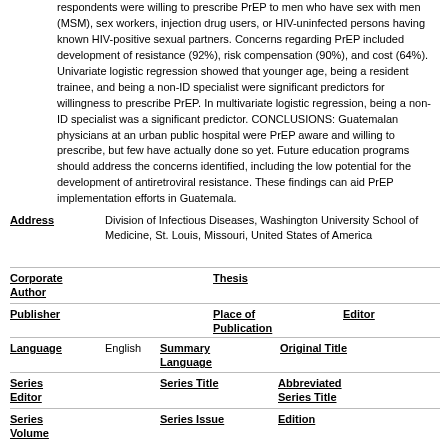respondents were willing to prescribe PrEP to men who have sex with men (MSM), sex workers, injection drug users, or HIV-uninfected persons having known HIV-positive sexual partners. Concerns regarding PrEP included development of resistance (92%), risk compensation (90%), and cost (64%). Univariate logistic regression showed that younger age, being a resident trainee, and being a non-ID specialist were significant predictors for willingness to prescribe PrEP. In multivariate logistic regression, being a non-ID specialist was a significant predictor. CONCLUSIONS: Guatemalan physicians at an urban public hospital were PrEP aware and willing to prescribe, but few have actually done so yet. Future education programs should address the concerns identified, including the low potential for the development of antiretroviral resistance. These findings can aid PrEP implementation efforts in Guatemala.
Address: Division of Infectious Diseases, Washington University School of Medicine, St. Louis, Missouri, United States of America
Corporate Author
Thesis
Publisher
Place of Publication
Editor
Language: English
Summary Language
Original Title
Series Editor
Series Title
Abbreviated Series Title
Series Volume
Series Issue
Edition
ISSN: 1932-6203
ISBN
Medium
Area
Expedition
Conference
Notes: PMID:29357475
Approved